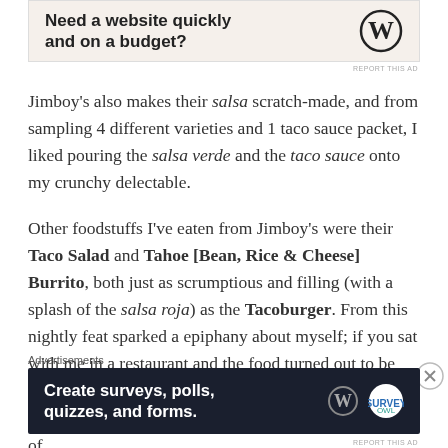[Figure (other): Advertisement banner: 'Need a website quickly and on a budget?' with WordPress logo]
Jimboy's also makes their salsa scratch-made, and from sampling 4 different varieties and 1 taco sauce packet, I liked pouring the salsa verde and the taco sauce onto my crunchy delectable.
Other foodstuffs I've eaten from Jimboy's were their Taco Salad and Tahoe [Bean, Rice & Cheese] Burrito, both just as scrumptious and filling (with a splash of the salsa roja) as the Tacoburger. From this nightly feat sparked a epiphany about myself; if you sat with me in a restaurant and the food turned out to be amazingly yummy, whether it's healthy or unhealthy, I don't hesitate to finish the entire plate until I'm at risk of
Advertisements
[Figure (other): Advertisement banner: 'Create surveys, polls, quizzes, and forms.' with WordPress and Survey Owl logos on dark background]